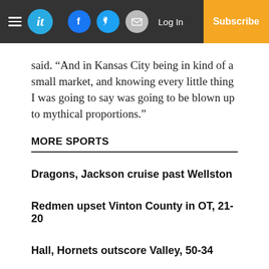it | Log In | Subscribe (navigation bar with social icons)
said. “And in Kansas City being in kind of a small market, and knowing every little thing I was going to say was going to be blown up to mythical proportions.”
MORE SPORTS
Dragons, Jackson cruise past Wellston
Redmen upset Vinton County in OT, 21-20
Hall, Hornets outscore Valley, 50-34